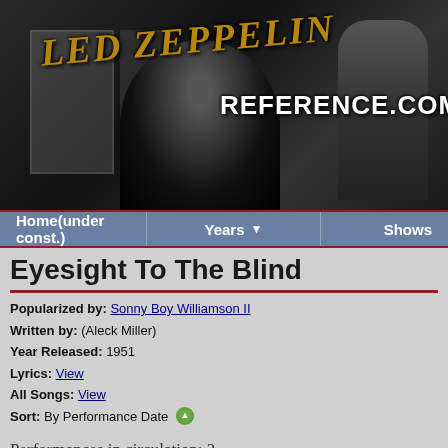[Figure (photo): Led Zeppelin Reference.com website banner — black and white photo of figures near a window with 'LED ZEPPELIN' in gold italic text and 'REFERENCE.COM' in white bold text overlaid on top]
Home(under const.)   Years ▼   Shows
Eyesight To The Blind
Popularized by: Sonny Boy Williamson II
Written by: (Aleck Miller)
Year Released: 1951
Lyrics: View
All Songs: View
Sort: By Performance Date
Performances in circulation: 2
Prior Song   100 of 377   Next Song